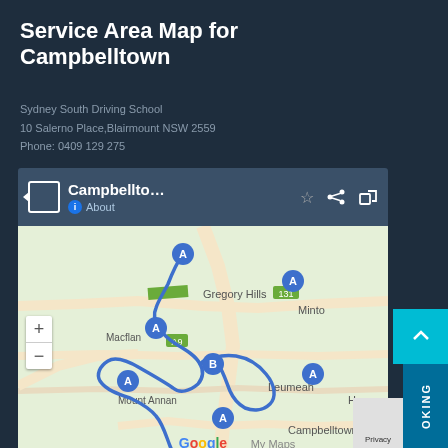Service Area Map for Campbelltown
Sydney South Driving School
10 Salerno Place,Blairmount NSW 2559
Phone: 0409 129 275
[Figure (map): Google My Maps screenshot showing the Campbelltown service area with multiple blue markers labeled A and B. The map displays areas including Gregory Hills, Minto, Macquarie Fields (Macflan), Mount Annan, Leumeah, and Campbelltown. Blue route lines connect the markers. Map controls include zoom in/out buttons and shows Terms and Google My Maps attribution.]